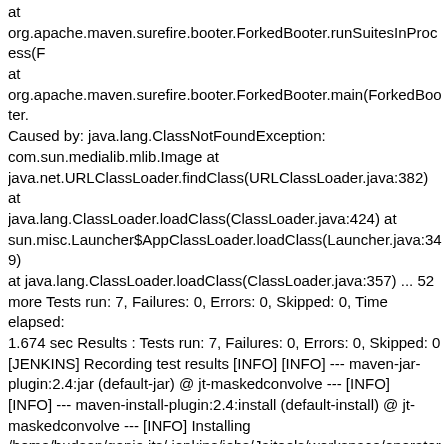at org.apache.maven.surefire.booter.ForkedBooter.runSuitesInProcess(F at org.apache.maven.surefire.booter.ForkedBooter.main(ForkedBooter. Caused by: java.lang.ClassNotFoundException: com.sun.medialib.mlib.Image at java.net.URLClassLoader.findClass(URLClassLoader.java:382) at java.lang.ClassLoader.loadClass(ClassLoader.java:424) at sun.misc.Launcher$AppClassLoader.loadClass(Launcher.java:349) at java.lang.ClassLoader.loadClass(ClassLoader.java:357) ... 52 more Tests run: 7, Failures: 0, Errors: 0, Skipped: 0, Time elapsed: 1.674 sec Results : Tests run: 7, Failures: 0, Errors: 0, Skipped: 0 [JENKINS] Recording test results [INFO] [INFO] --- maven-jar-plugin:2.4:jar (default-jar) @ jt-maskedconvolve --- [INFO] [INFO] --- maven-install-plugin:2.4:install (default-install) @ jt-maskedconvolve --- [INFO] Installing /home/hudson/genie.jts/.jenkins/jobs/Jaitools/workspace/operator/ma maskedconvolve-1.5-SNAPSHOT.jar to /opt/public/hipp/homes/genie.jts/.m2/repository/org/jaitools/jt-maskedconvolve/1.5-SNAPSHOT/jt-maskedconvolve-1.5-SNAPSHOT.jar [INFO] Installing /home/hudson/genie.jts/.jenkins/jobs/Jaitools/workspace/operator/ma to /opt/public/hipp/homes/genie.jts/.m2/repository/org/jaitools/jt-maskedconvolve/1.5-SNAPSHOT/jt-maskedconvolve-1.5-SNAPSHOT.pom